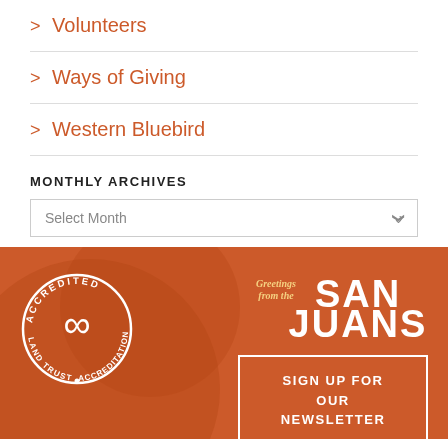> Volunteers
> Ways of Giving
> Western Bluebird
MONTHLY ARCHIVES
Select Month
[Figure (logo): Accredited Land Trust Accreditation Commission circular badge with infinity symbol]
[Figure (logo): Greetings from the San Juans logo in white text on orange background]
SIGN UP FOR OUR NEWSLETTER